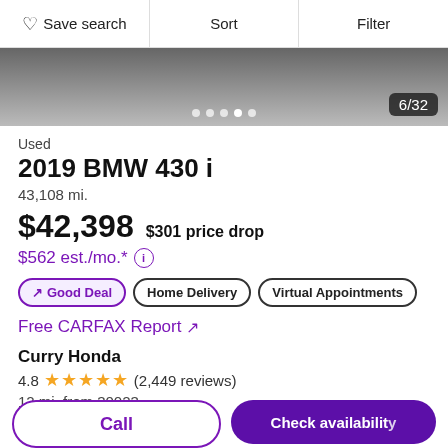Save search | Sort | Filter
[Figure (screenshot): Partial car image showing bottom of vehicle, with image carousel dots and 6/32 counter badge]
Used
2019 BMW 430 i
43,108 mi.
$42,398  $301 price drop
$562 est./mo.* ⓘ
↗ Good Deal
Home Delivery
Virtual Appointments
Free CARFAX Report ↗
Curry Honda
4.8 ★★★★★ (2,449 reviews)
12 mi. from 30023
Call | Check availability